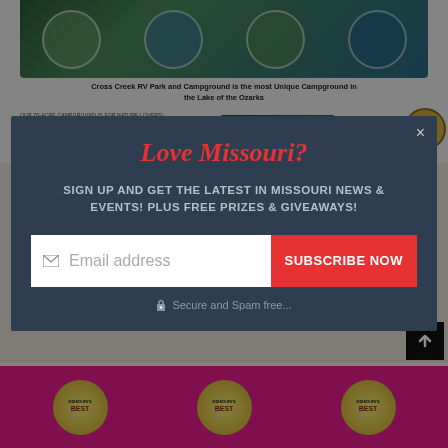[Figure (screenshot): Background screenshot of Cross Creek RV Park and Campground website with circular photo collage at top, title text, booking button, and Missouri's Best badge]
[Figure (illustration): Native American headdress/feather illustration in center of page below modal]
Love Missouri?
SIGN UP AND GET THE LATEST IN MISSOURI NEWS & EVENTS! PLUS FREE PRIZES & GIVEAWAYS!
Email address
SUBSCRIBE NOW
Secure and Spam free...